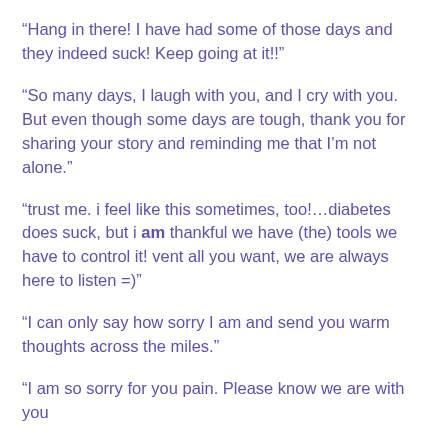“Hang in there! I have had some of those days and they indeed suck! Keep going at it!!”
“So many days, I laugh with you, and I cry with you. But even though some days are tough, thank you for sharing your story and reminding me that I’m not alone.”
“trust me. i feel like this sometimes, too!…diabetes does suck, but i am thankful we have (the) tools we have to control it! vent all you want, we are always here to listen =)”
“I can only say how sorry I am and send you warm thoughts across the miles.”
“I am so sorry for you pain. Please know we are with you